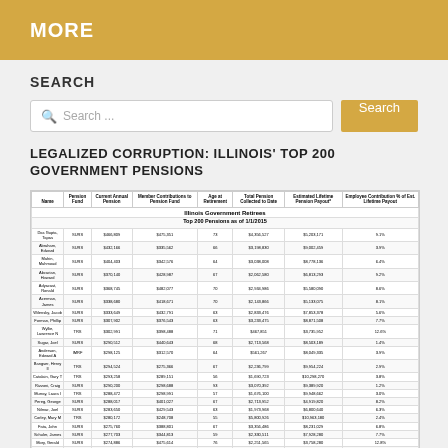MORE
SEARCH
LEGALIZED CORRUPTION: ILLINOIS' TOP 200 GOVERNMENT PENSIONS
| Name | Pension Fund | Current Annual Pension | Member Contributions to Pension Fund | Age at Retirement | Total Pension Collected to Date | Estimated Lifetime Pension Payout* | Employee Contribution % of Est. Lifetime Payout |
| --- | --- | --- | --- | --- | --- | --- | --- |
| Das Gupta, Tapas | SURS | $466,809 | $475,351 | 73 | $4,356,527 | $5,203,171 | 9.1% |
| Abraham, Edward | SURS | $432,166 | $335,562 | 66 | $3,198,830 | $9,002,459 | 3.9% |
| Mahin, Mahmoud | SURS | $404,403 | $342,576 | 64 | $3,038,008 | $8,778,136 | 6.4% |
| Abcarian, Howard | SURS | $370,140 | $428,987 | 67 | $2,062,580 | $6,813,293 | 9.2% |
| Adyacast, Ronald | SURS | $368,745 | $482,077 | 70 | $2,934,986 | $5,580,090 | 8.6% |
| Acerman, James | SURS | $338,680 | $418,671 | 70 | $2,143,866 | $5,133,075 | 8.1% |
| Wilensky, Jacob | SURS | $333,649 | $432,791 | 63 | $2,833,476 | $7,853,378 | 5.6% |
| Forman, Phillip | SURS | $307,902 | $376,543 | 63 | $3,233,475 | $8,871,508 | 7.7% |
| Wyllie, Lawrence N | TRS | $302,991 | $398,488 | 71 | $467,851 | $3,735,952 | 12.6% |
| Sugar, Joel | SURS | $290,512 | $440,643 | 68 | $2,713,568 | $8,503,189 | 1.4% |
| Anderson, Edward A | IMRF | $298,125 | $312,570 | 64 | $561,267 | $8,049,335 | 3.9% |
| Bangser, Henry II | TRS | $294,524 | $275,366 | 67 | $2,236,799 | $9,954,224 | 2.9% |
| Catalain, Gary T | TRS | $293,258 | $289,151 | 56 | $1,690,723 | $10,298,270 | 3.8% |
| Rizzoni, Craig | SURS | $290,200 | $298,688 | 93 | $3,070,392 | $9,389,920 | 1.2% |
| Murray, Laura I | TRS | $288,472 | $298,991 | 57 | $1,676,100 | $9,948,662 | 3.0% |
| Pereg, George | SURS | $288,017 | $401,027 | 67 | $2,713,952 | $4,919,820 | 8.2% |
| Nilmar, Joel | SURS | $283,650 | $429,543 | 63 | $1,973,968 | $6,800,640 | 6.3% |
| Corley, Mary M | TRS | $280,172 | $248,708 | 55 | $5,800,926 | $10,963,180 | 2.4% |
| Fata, John | SURS | $275,760 | $388,801 | 67 | $3,356,486 | $8,231,029 | 6.8% |
| Schuler, James | SURS | $277,703 | $344,813 | 59 | $2,330,511 | $7,928,280 | 7.7% |
| Mory, Gerald | SURS | $274,886 | $475,614 | 76 | $2,251,565 | $3,758,280 | 12.8% |
| Grostic, Henry A | TRS | $273,572 | $282,705 | 56 | $5,334,333 | $10,191,467 | 2.8% |
| Weaver, Reginald L | TRS | $273,119 | $264,394 | 64 | $1,576,119 | $4,251,313 | 6.7% |
| Hagen, Maureen L | TRS | $271,610 | $272,774 | 58 | $1,203,907 | $8,043,456 | 3.0% |
| Lipella, Melvin | SURS | $270,174 | $417,773 | 62 | $3,625,105 | $6,985,464 | 6.9% |
| Rugg, Stephen | SURS | $266,108 | $418,645 | 69 | $1,775,886 | $8,421,203 | 5.9% |
| Oldham, Greg | SURS | $265,984 | $356,303 | 80 | $1,954,949 | $7,821,820 | 4.6% |
| Patel, Det | SURS | $265,312 | $415,937 | 60 | $2,258,267 | $3,980,536 | 9.9% |